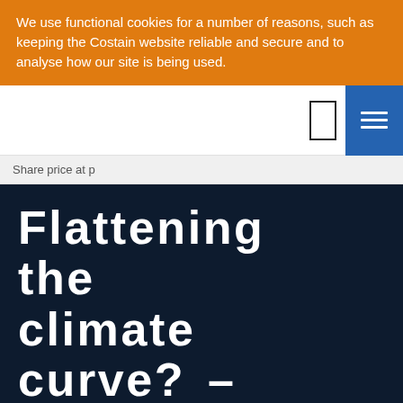We use functional cookies for a number of reasons, such as keeping the Costain website reliable and secure and to analyse how our site is being used.
Share price at p
Flattening the climate curve? – Lessons from lockdown